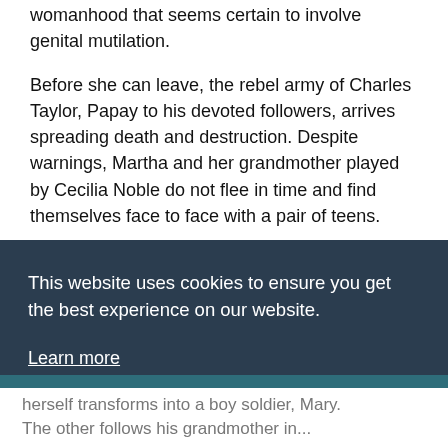womanhood that seems certain to involve genital mutilation.
Before she can leave, the rebel army of Charles Taylor, Papay to his devoted followers, arrives spreading death and destruction. Despite warnings, Martha and her grandmother played by Cecilia Noble do not flee in time and find themselves face to face with a pair of teens.
While in this country they would probably get
This website uses cookies to ensure you get the best experience on our website.
Learn more
Got it!
herself transforms into a boy soldier, Mary. The other follows his grandmother in...